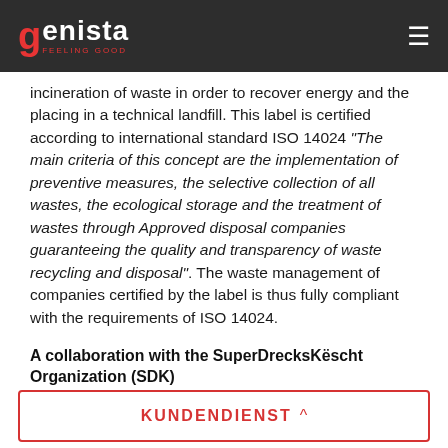genista FEELING GOOD
incineration of waste in order to recover energy and the placing in a technical landfill. This label is certified according to international standard ISO 14024 "The main criteria of this concept are the implementation of preventive measures, the selective collection of all wastes, the ecological storage and the treatment of wastes through Approved disposal companies guaranteeing the quality and transparency of waste recycling and disposal". The waste management of companies certified by the label is thus fully compliant with the requirements of ISO 14024.
A collaboration with the SuperDrecksKëscht Organization (SDK)
As part of an institutional and environmental
KUNDENDIENST